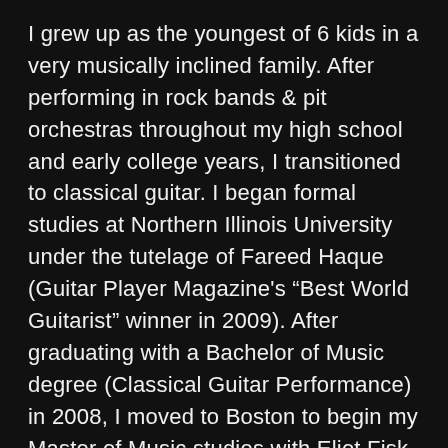I grew up as the youngest of 6 kids in a very musically inclined family. After performing in rock bands & pit orchestras throughout my high school and early college years, I transitioned to classical guitar. I began formal studies at Northern Illinois University under the tutelage of Fareed Haque (Guitar Player Magazine's “Best World Guitarist” winner in 2009). After graduating with a Bachelor of Music degree (Classical Guitar Performance) in 2008, I moved to Boston to begin my Master of Music studies with Eliot Fisk at the New England Conservatory of Music.
While helping me grow as a classical guitarist, Eliot also encouraged me to embrace my